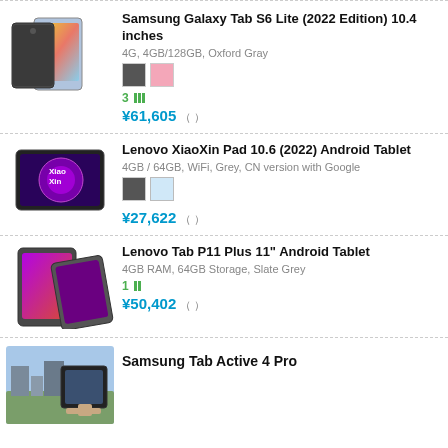[Figure (photo): Samsung Galaxy Tab S6 Lite product image showing tablet from front and back]
Samsung Galaxy Tab S6 Lite (2022 Edition) 10.4 inches
4G, 4GB/128GB, Oxford Gray
3 [rating bars]
¥61,605 ( )
[Figure (photo): Lenovo XiaoXin Pad 10.6 product image]
Lenovo XiaoXin Pad 10.6 (2022) Android Tablet
4GB / 64GB, WiFi, Grey, CN version with Google
¥27,622 ( )
[Figure (photo): Lenovo Tab P11 Plus product image]
Lenovo Tab P11 Plus 11" Android Tablet
4GB RAM, 64GB Storage, Slate Grey
1 [rating bars]
¥50,402 ( )
[Figure (photo): Samsung Tab Active 4 Pro product image]
Samsung Tab Active 4 Pro